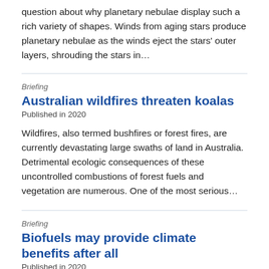question about why planetary nebulae display such a rich variety of shapes. Winds from aging stars produce planetary nebulae as the winds eject the stars' outer layers, shrouding the stars in…
Briefing
Australian wildfires threaten koalas
Published in 2020
Wildfires, also termed bushfires or forest fires, are currently devastating large swaths of land in Australia. Detrimental ecologic consequences of these uncontrolled combustions of forest fuels and vegetation are numerous. One of the most serious…
Briefing
Biofuels may provide climate benefits after all
Published in 2020
Many questions concerning the sustainable production of biofuels have emerged over recent years in terms of land and water use, pollution from fertilizer and pest-control chemicals,